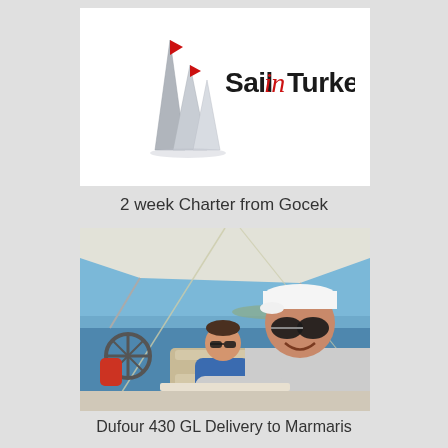[Figure (logo): SailinTurkey logo with stylized grey sails and red flags, with company name 'SailinTurkey' in mixed black and red italic typography]
2 week Charter from Gocek
[Figure (photo): Two men on a sailboat cockpit with blue sea and sky in background. Man in foreground wearing white cap and sunglasses smiling at camera, man in background wearing blue shirt and sunglasses seated. Sailboat rigging and bimini visible.]
Dufour 430 GL Delivery to Marmaris